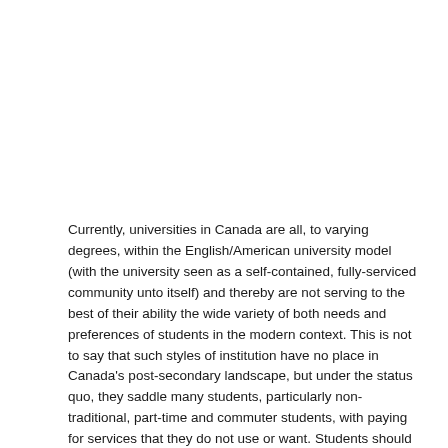Currently, universities in Canada are all, to varying degrees, within the English/American university model (with the university seen as a self-contained, fully-serviced community unto itself) and thereby are not serving to the best of their ability the wide variety of both needs and preferences of students in the modern context. This is not to say that such styles of institution have no place in Canada's post-secondary landscape, but under the status quo, they saddle many students, particularly non-traditional, part-time and commuter students, with paying for services that they do not use or want. Students should be able to choose options of post-secondary learning, and at a price point, that fits their situation and intentions. This model may also be increasingly unsustainable for universities themselves, as demonstrated by the recent insolvency declaration of Laurentian University.